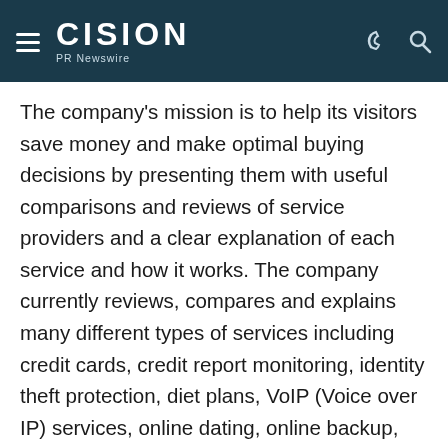CISION PR Newswire
The company's mission is to help its visitors save money and make optimal buying decisions by presenting them with useful comparisons and reviews of service providers and a clear explanation of each service and how it works. The company currently reviews, compares and explains many different types of services including credit cards, credit report monitoring, identity theft protection, diet plans, VoIP (Voice over IP) services, online dating, online backup, Internet security software, internet fax and web hosting.
SOURCE NextAdvisor.com